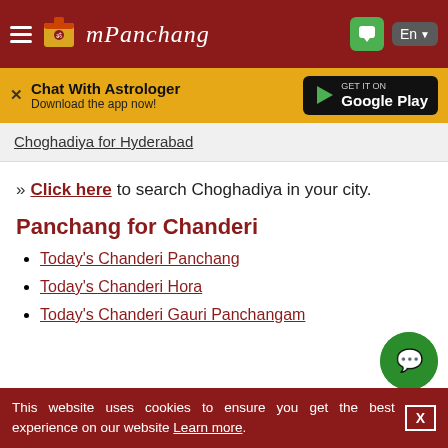mPanchang
[Figure (screenshot): mPanchang website header with hamburger menu, logo, brand name, chat button and language selector on dark red background]
Chat With Astrologer
Download the app now!
[Figure (logo): Get it on Google Play button]
Choghadiya for Hyderabad
» Click here to search Choghadiya in your city.
Panchang for Chanderi
Today's Chanderi Panchang
Today's Chanderi Hora
Today's Chanderi Gauri Panchangam
This website uses cookies to ensure you get the best experience on our website Learn more.